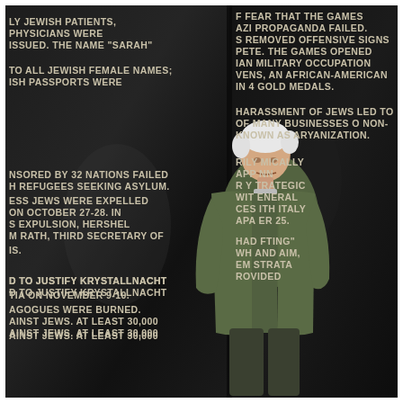[Figure (photo): An elderly white-haired man in a green jacket stands solemnly in front of a black granite Holocaust memorial wall engraved with white text describing historical events including Krystallnacht, Jewish persecution, refugee conferences, and Nazi policies. The man faces right in a three-quarter profile, with hands in pockets. The engraved text is visible on both sides of him referencing Jewish patients, Sarah name decree, Evian conference, expulsions of October 27-28, Hershel Rath, Krystallnacht November 9-10, synagogues burned, 30,000 Jews sent to concentration camps, the 1936 Berlin Olympics, African-American Jesse Owens winning 4 gold medals, Aryanization of businesses, and Axis alliances.]